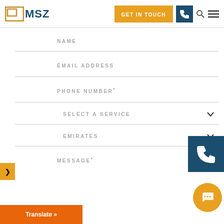MSZ — GET IN TOUCH
NAME
EMAIL ADDRESS
PHONE NUMBER*
SELECT A SERVICE
EMIRATES
MESSAGE*
Translate »